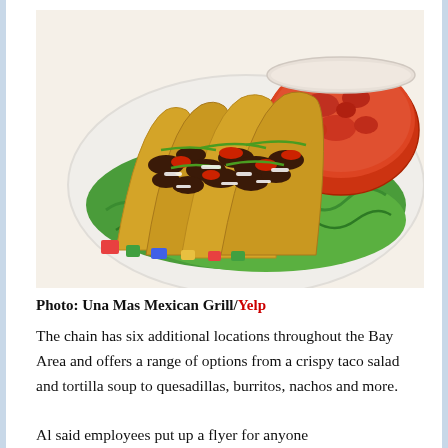[Figure (photo): Plate of hard-shell tacos filled with seasoned ground beef, lettuce, red peppers, green onions, and shredded cheese, served alongside a bowl of red tomato salsa on a bed of green lettuce, on a colorful decorative plate.]
Photo: Una Mas Mexican Grill/Yelp
The chain has six additional locations throughout the Bay Area and offers a range of options from a crispy taco salad and tortilla soup to quesadillas, burritos, nachos and more.
Al said employees put up a flyer for anyone